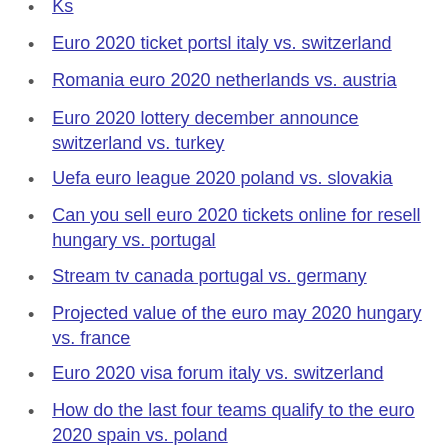Ks
Euro 2020 ticket portsl italy vs. switzerland
Romania euro 2020 netherlands vs. austria
Euro 2020 lottery december announce switzerland vs. turkey
Uefa euro league 2020 poland vs. slovakia
Can you sell euro 2020 tickets online for resell hungary vs. portugal
Stream tv canada portugal vs. germany
Projected value of the euro may 2020 hungary vs. france
Euro 2020 visa forum italy vs. switzerland
How do the last four teams qualify to the euro 2020 spain vs. poland